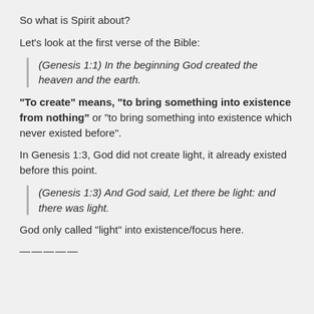So what is Spirit about?
Let's look at the first verse of the Bible:
(Genesis 1:1) In the beginning God created the heaven and the earth.
“To create” means, “to bring something into existence from nothing” or “to bring something into existence which never existed before”.
In Genesis 1:3, God did not create light, it already existed before this point.
(Genesis 1:3) And God said, Let there be light: and there was light.
God only called “light” into existence/focus here.
—————